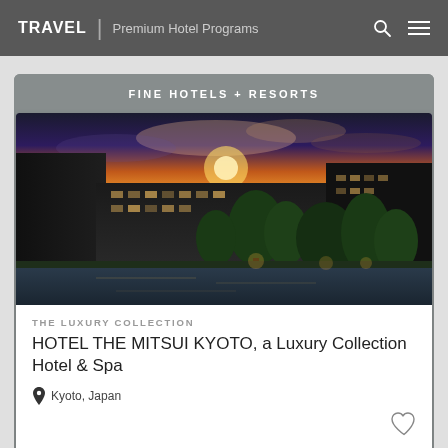TRAVEL | Premium Hotel Programs
FINE HOTELS + RESORTS
[Figure (photo): Exterior photo of Hotel The Mitsui Kyoto at dusk with dramatic sunset sky, modern Japanese architecture, reflecting pool, and trees]
THE LUXURY COLLECTION
HOTEL THE MITSUI KYOTO, a Luxury Collection Hotel & Spa
Kyoto, Japan
FINE HOTELS + RESORTS